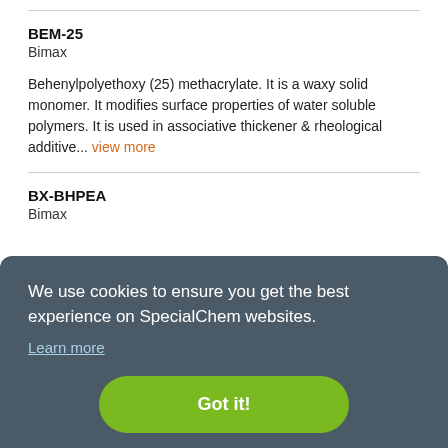BEM-25
Bimax
Behenylpolyethoxy (25) methacrylate. It is a waxy solid monomer. It modifies surface properties of water soluble polymers. It is used in associative thickener & rheological additive... view more
BX-BHPEA
Bimax
[Figure (screenshot): Cookie consent overlay on dark teal/slate background reading: We use cookies to ensure you get the best experience on SpecialChem websites. Learn more. Got it! button in green.]
ck to Top
Laurylpolyethoxy (23) methacrylate. It is a waxy solid